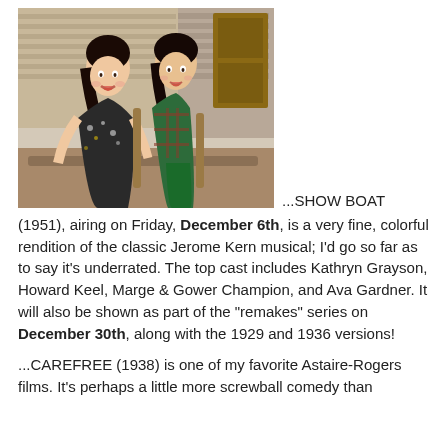[Figure (photo): Two women with dark hair posing together, one in a floral/patterned dress and one in a green dress and plaid jacket, seated outdoors near a wooden structure.]
...SHOW BOAT (1951), airing on Friday, December 6th, is a very fine, colorful rendition of the classic Jerome Kern musical; I'd go so far as to say it's underrated. The top cast includes Kathryn Grayson, Howard Keel, Marge & Gower Champion, and Ava Gardner. It will also be shown as part of the "remakes" series on December 30th, along with the 1929 and 1936 versions!
...CAREFREE (1938) is one of my favorite Astaire-Rogers films. It's perhaps a little more screwball comedy than